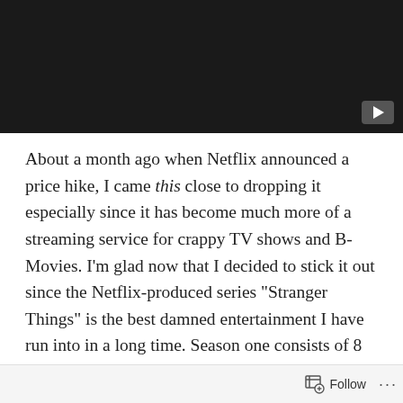[Figure (screenshot): Black video player placeholder with a play button icon in the bottom-right corner]
About a month ago when Netflix announced a price hike, I came this close to dropping it especially since it has become much more of a streaming service for crappy TV shows and B-Movies. I'm glad now that I decided to stick it out since the Netflix-produced series “Stranger Things” is the best damned entertainment I have run into in a long time. Season one consists of 8 episodes that can now be seen in their entirety. If you have Netflix, put it on your must-see list if you like me are fond of pop culture icons such as the X-Files, Stephen King’s “It” and “Carrie”, Spielberg’s “ET” and “Close Encounters of the Third Kind”,
Follow ...